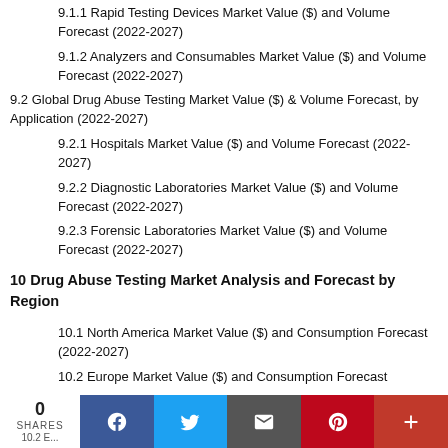9.1.1 Rapid Testing Devices Market Value ($) and Volume Forecast (2022-2027)
9.1.2 Analyzers and Consumables Market Value ($) and Volume Forecast (2022-2027)
9.2 Global Drug Abuse Testing Market Value ($) & Volume Forecast, by Application (2022-2027)
9.2.1 Hospitals Market Value ($) and Volume Forecast (2022-2027)
9.2.2 Diagnostic Laboratories Market Value ($) and Volume Forecast (2022-2027)
9.2.3 Forensic Laboratories Market Value ($) and Volume Forecast (2022-2027)
10 Drug Abuse Testing Market Analysis and Forecast by Region
10.1 North America Market Value ($) and Consumption Forecast (2022-2027)
10.2 Europe Market Value ($) and Consumption Forecast
0 SHARES | Facebook | Twitter | Email | Pinterest | More